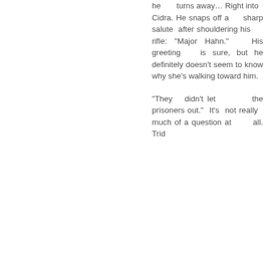he turns away… Right into Cidra. He snaps off a sharp salute after shouldering his rifle: "Major Hahn." His greeting is sure, but he definitely doesn't seem to know why she's walking toward him.

"They didn't let the prisoners out." It's not really much of a question at all. Trid...